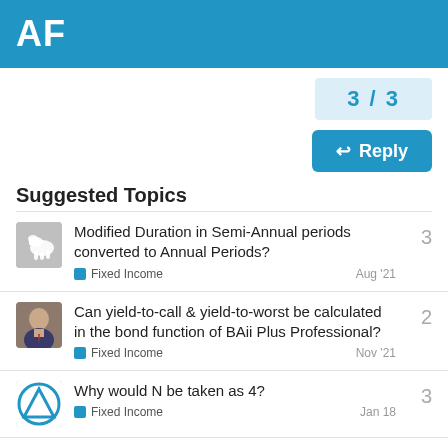AF
3 / 3
Reply
Suggested Topics
Modified Duration in Semi-Annual periods converted to Annual Periods? | Fixed Income | Aug '21 | 3
Can yield-to-call & yield-to-worst be calculated in the bond function of BAii Plus Professional? | Fixed Income | Nov '21 | 2
Why would N be taken as 4? | Fixed Income | Jan 18 | 3